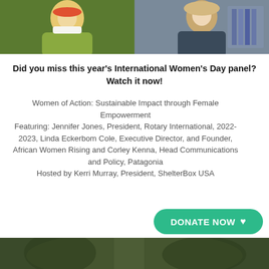[Figure (photo): Two photos side by side: left shows a woman in a green jacket with pink scarf, right shows a woman with blonde hair in a dark top in front of bookshelves]
Did you miss this year's International Women's Day panel? Watch it now!
Women of Action: Sustainable Impact through Female Empowerment
Featuring: Jennifer Jones, President, Rotary International, 2022-2023, Linda Eckerbom Cole, Executive Director, and Founder, African Women Rising and Corley Kenna, Head Communications and Policy, Patagonia
Hosted by Kerri Murray, President, ShelterBox USA
[Figure (other): DONATE NOW button with heart icon in teal/green]
[Figure (photo): Bottom partial photo, outdoor scene]